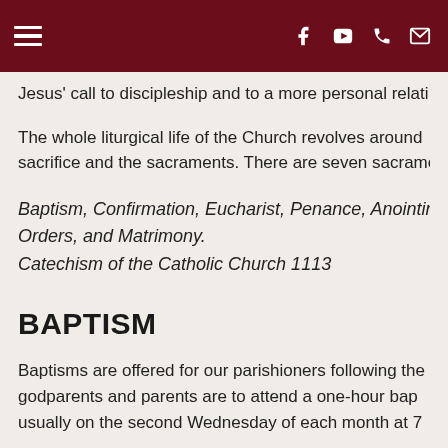[Navigation bar with hamburger menu, Facebook, YouTube, phone, and email icons]
Jesus' call to discipleship and to a more personal relati
The whole liturgical life of the Church revolves around sacrifice and the sacraments. There are seven sacrame
Baptism, Confirmation, Eucharist, Penance, Anointing Orders, and Matrimony.
Catechism of the Catholic Church 1113
BAPTISM
Baptisms are offered for our parishioners following the godparents and parents are to attend a one-hour bap usually on the second Wednesday of each month at 7